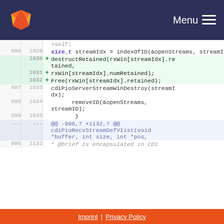GitLab navigation — Menu
[Figure (screenshot): Code diff view showing lines 896-899 (old) / 1029-1035 (new) and hunk header, with added lines for destructRetained, rxWin[streamIdx].numRetained, Free(rxWin[streamIdx].retained), and context lines for cdiPioServerStreamWinDestroy, removeID, closing brace, and hunk header for cdiPioRecvStreamDefVlist]
Imprint | Privacy Policy